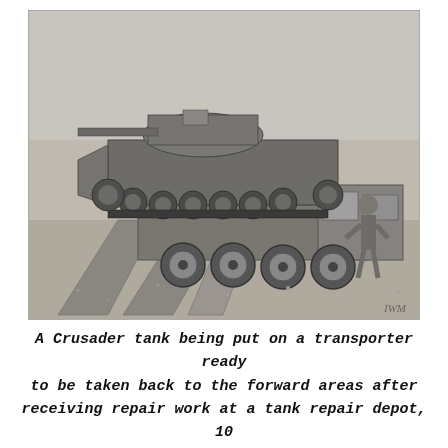[Figure (photo): Black and white photograph of a Crusader tank being loaded onto a transporter vehicle via ramps in a desert setting. A soldier is visible on the right side of the transporter. The photo has a watermark 'IWM' in the bottom right corner.]
A Crusader tank being put on a transporter ready to be taken back to the forward areas after receiving repair work at a tank repair depot, 10 December 1941. IWM E7014